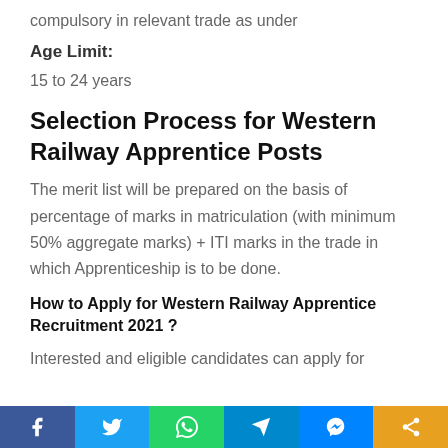compulsory in relevant trade as under
Age Limit:
15 to 24 years
Selection Process for Western Railway Apprentice Posts
The merit list will be prepared on the basis of percentage of marks in matriculation (with minimum 50% aggregate marks) + ITI marks in the trade in which Apprenticeship is to be done.
How to Apply for Western Railway Apprentice Recruitment 2021 ?
Interested and eligible candidates can apply for